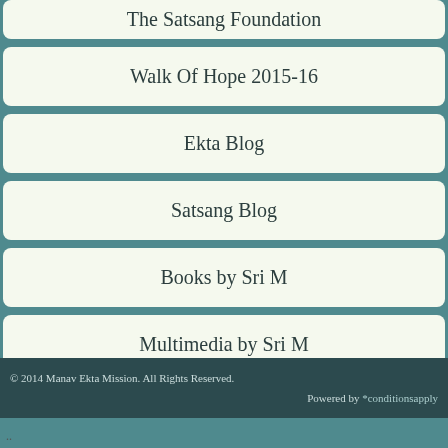The Satsang Foundation
Walk Of Hope 2015-16
Ekta Blog
Satsang Blog
Books by Sri M
Multimedia by Sri M
© 2014 Manav Ekta Mission. All Rights Reserved.
Powered by *conditionsapply